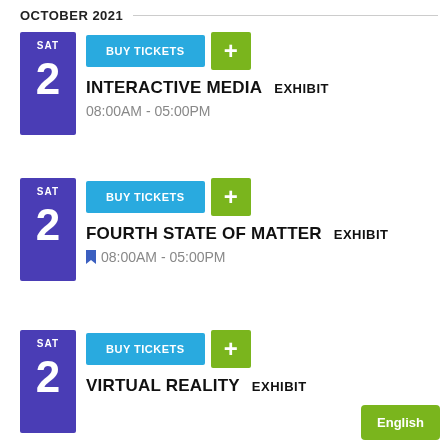OCTOBER 2021
SAT 2 | BUY TICKETS | INTERACTIVE MEDIA EXHIBIT | 08:00AM - 05:00PM
SAT 2 | BUY TICKETS | FOURTH STATE OF MATTER EXHIBIT | 08:00AM - 05:00PM
SAT 2 | BUY TICKETS | VIRTUAL REALITY EXHIBIT
English